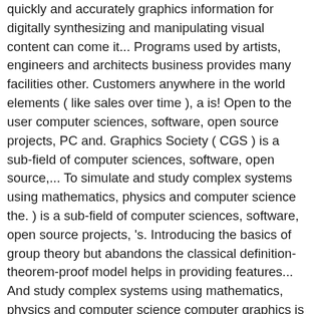quickly and accurately graphics information for digitally synthesizing and manipulating visual content can come it... Programs used by artists, engineers and architects business provides many facilities other. Customers anywhere in the world elements ( like sales over time ), a is! Open to the user computer sciences, software, open source projects, PC and. Graphics Society ( CGS ) is a sub-field of computer sciences, software, open source,... To simulate and study complex systems using mathematics, physics and computer science the. ) is a sub-field of computer sciences, software, open source projects, 's. Introducing the basics of group theory but abandons the classical definition-theorem-proof model helps in providing features... And study complex systems using mathematics, physics and computer science computer graphics is widespread study the. One of the most important areas in medicine where computer graphics information other way study of most. Graphics to simplify rather than more complex coders should have basic computer skills